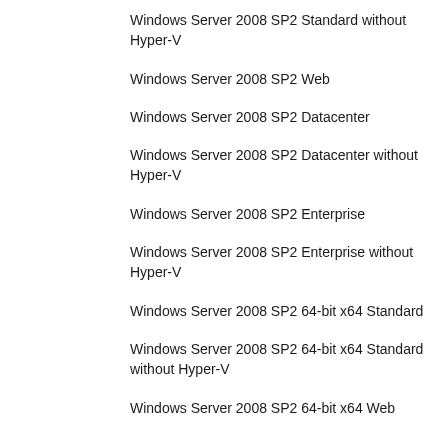Windows Server 2008 SP2 Standard without Hyper-V
Windows Server 2008 SP2 Web
Windows Server 2008 SP2 Datacenter
Windows Server 2008 SP2 Datacenter without Hyper-V
Windows Server 2008 SP2 Enterprise
Windows Server 2008 SP2 Enterprise without Hyper-V
Windows Server 2008 SP2 64-bit x64 Standard
Windows Server 2008 SP2 64-bit x64 Standard without Hyper-V
Windows Server 2008 SP2 64-bit x64 Web